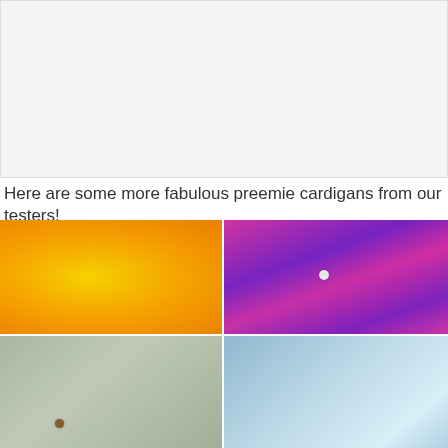[Figure (photo): White/light gray blank space area at top of page, resembling a placeholder or advertisement space]
Here are some more fabulous preemie cardigans from our testers!
[Figure (photo): Four-photo collage of handmade crochet preemie cardigans. Top-left: yellow/orange candy corn colored cardigan. Top-right: bright pink and purple striped cardigan with button. Bottom-left: gray/green muted cardigan with brown button. Bottom-right: light blue pastel cardigan. Center overlay: circular Sunflower Cottage Crochet watermark reading 'Preemie Cardigan Testers makes'. Top-right social icons: blue heart button, number 2, blue share button.]